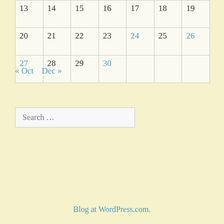| 13 | 14 | 15 | 16 | 17 | 18 | 19 |
| 20 | 21 | 22 | 23 | 24 | 25 | 26 |
| 27 | 28 | 29 | 30 |  |  |  |
« Oct   Dec »
Search …
Blog at WordPress.com.